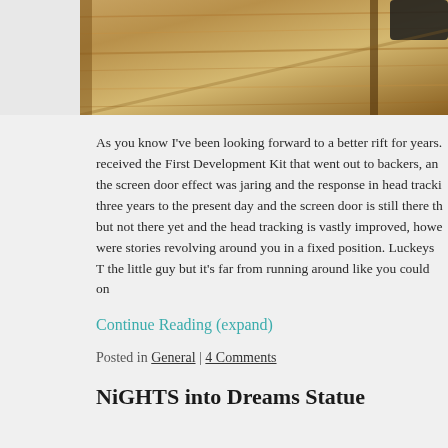[Figure (photo): Close-up photo of light-colored wood grain, possibly a wooden desk or shelf, with a dark object partially visible at the top right corner.]
As you know I've been looking forward to a better rift for years. I received the First Development Kit that went out to backers, and the screen door effect was jaring and the response in head tracki... three years to the present day and the screen door is still there th... but not there yet and the head tracking is vastly improved, howe... were stories revolving around you in a fixed position. Luckeys T... the little guy but it's far from running around like you could on ...
Continue Reading (expand)
Posted in General | 4 Comments
NiGHTS into Dreams Statue